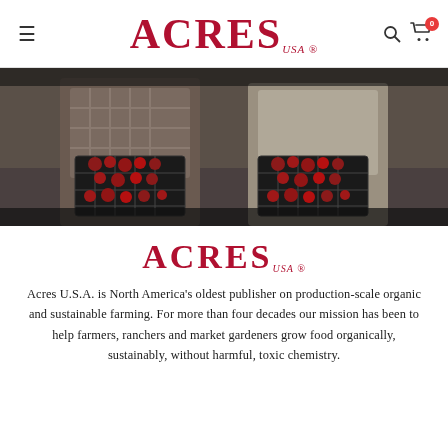ACRES USA — navigation header with hamburger menu, logo, search icon, and cart icon with badge 0
[Figure (photo): Two people standing side by side each holding a large black wire mesh crate filled with red produce (tomatoes), shot from chest level, outdoors on a road, muted warm background.]
[Figure (logo): Acres U.S.A. logo in large red serif text with 'USA' subscript in smaller italic text]
Acres U.S.A. is North America's oldest publisher on production-scale organic and sustainable farming. For more than four decades our mission has been to help farmers, ranchers and market gardeners grow food organically, sustainably, without harmful, toxic chemistry.